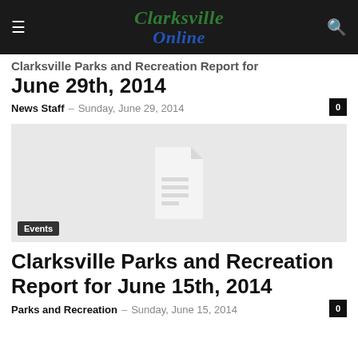Clarksville Online
Clarksville Parks and Recreation Report for June 29th, 2014
News Staff – Sunday, June 29, 2014
[Figure (illustration): Placeholder image with document icon and Events tag overlay]
Clarksville Parks and Recreation Report for June 15th, 2014
Parks and Recreation – Sunday, June 15, 2014